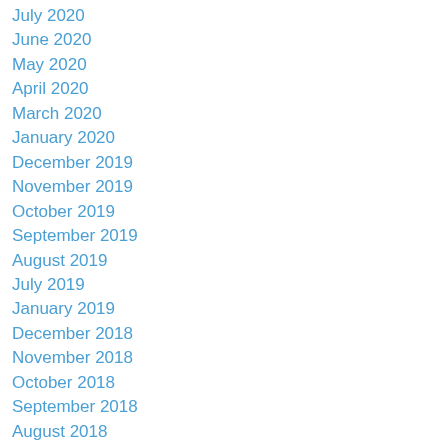July 2020
June 2020
May 2020
April 2020
March 2020
January 2020
December 2019
November 2019
October 2019
September 2019
August 2019
July 2019
January 2019
December 2018
November 2018
October 2018
September 2018
August 2018
July 2018
May 2018
April 2018